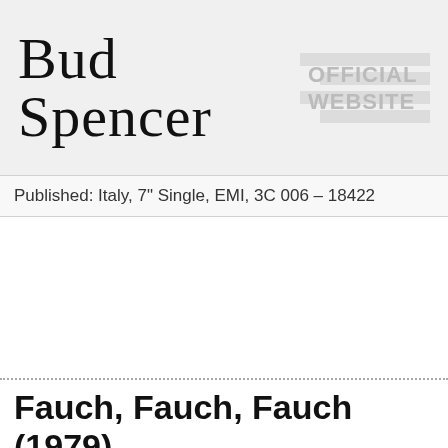Bud Spencer OFFICIAL WEBSITE
Published: Italy, 7" Single, EMI, 3C 006 - 18422
Fauch, Fauch, Fauch (1979)
Sung by Bud Spencer and Anke von Ohlen
Written by Carlo Pedersoli
Composed by Walter Rizzati
Published: Germany, 7" Single, B-Side of